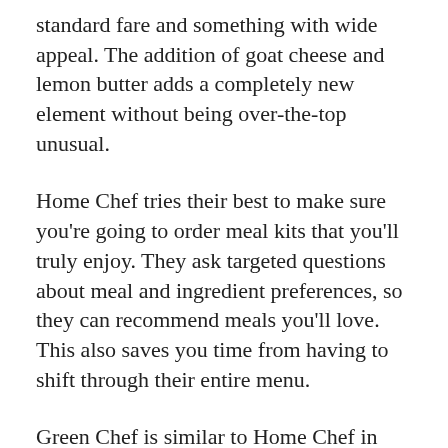standard fare and something with wide appeal. The addition of goat cheese and lemon butter adds a completely new element without being over-the-top unusual.
Home Chef tries their best to make sure you're going to order meal kits that you'll truly enjoy. They ask targeted questions about meal and ingredient preferences, so they can recommend meals you'll love. This also saves you time from having to shift through their entire menu.
Green Chef is similar to Home Chef in that their meals have broad appeal. A Cheesy Chicken Enchilada Skillet is going to be well-liked at many family dinner tables, while dishes like the Almond Crusted Barramundi